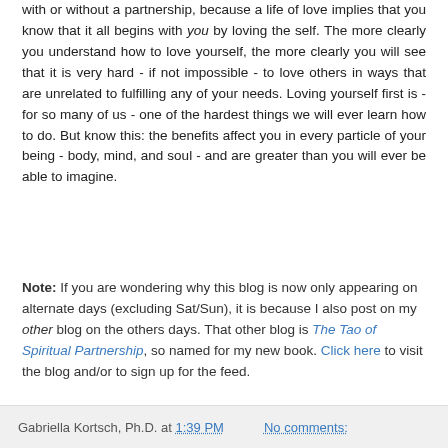with or without a partnership, because a life of love implies that you know that it all begins with you by loving the self. The more clearly you understand how to love yourself, the more clearly you will see that it is very hard - if not impossible - to love others in ways that are unrelated to fulfilling any of your needs. Loving yourself first is - for so many of us - one of the hardest things we will ever learn how to do. But know this: the benefits affect you in every particle of your being - body, mind, and soul - and are greater than you will ever be able to imagine.
Note: If you are wondering why this blog is now only appearing on alternate days (excluding Sat/Sun), it is because I also post on my other blog on the others days. That other blog is The Tao of Spiritual Partnership, so named for my new book. Click here to visit the blog and/or to sign up for the feed.
Gabriella Kortsch, Ph.D. at 1:39 PM    No comments: